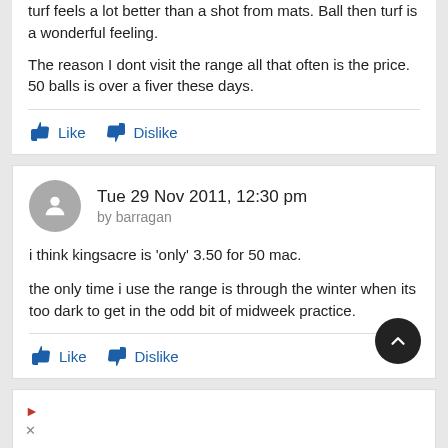turf feels a lot better than a shot from mats. Ball then turf is a wonderful feeling.
The reason I dont visit the range all that often is the price. 50 balls is over a fiver these days.
Tue 29 Nov 2011, 12:30 pm by barragan
i think kingsacre is 'only' 3.50 for 50 mac.
the only time i use the range is through the winter when its too dark to get in the odd bit of midweek practice.